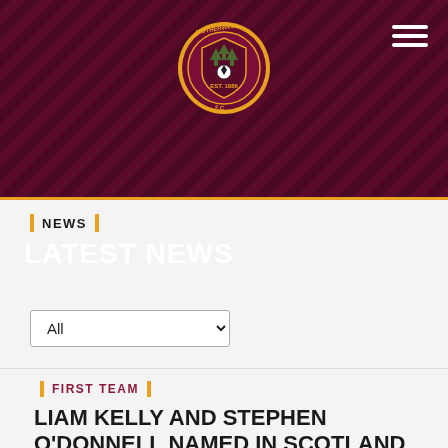[Figure (logo): Motherwell FC circular club crest badge with claret and amber colours, football imagery, and text EST. 1886]
NEWS
LATEST NEWS
All (dropdown selector)
FIRST TEAM
LIAM KELLY AND STEPHEN O'DONNELL NAMED IN SCOTLAND SQUAD